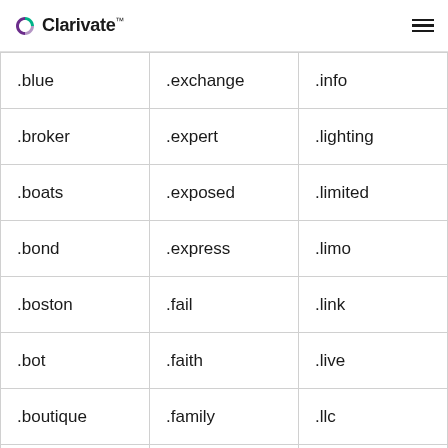Clarivate
| .blue | .exchange | .info |
| .broker | .expert | .lighting |
| .boats | .exposed | .limited |
| .bond | .express | .limo |
| .boston | .fail | .link |
| .bot | .faith | .live |
| .boutique | .family | .llc |